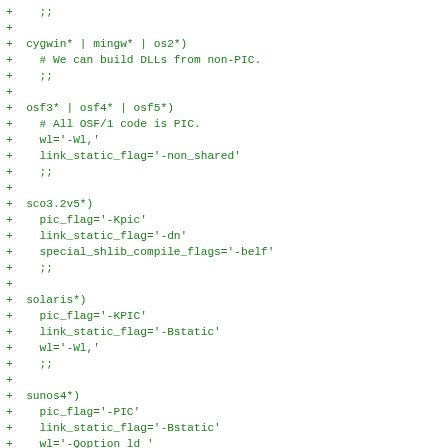+    ;;
+
+  cygwin* | mingw* | os2*)
+    # We can build DLLs from non-PIC.
+    ;;
+
+  osf3* | osf4* | osf5*)
+    # All OSF/1 code is PIC.
+    wl='-Wl,'
+    link_static_flag='-non_shared'
+    ;;
+
+  sco3.2v5*)
+    pic_flag='-Kpic'
+    link_static_flag='-dn'
+    special_shlib_compile_flags='-belf'
+    ;;
+
+  solaris*)
+    pic_flag='-KPIC'
+    link_static_flag='-Bstatic'
+    wl='-Wl,'
+    ;;
+
+  sunos4*)
+    pic_flag='-PIC'
+    link_static_flag='-Bstatic'
+    wl='-Qoption ld '
+    ;;
+
+  sysv4 | sysv4.2uw2* | sysv4.3* | sysv5*)
+    pic_flag='-KPIC'
+    link_static_flag='-Bstatic'